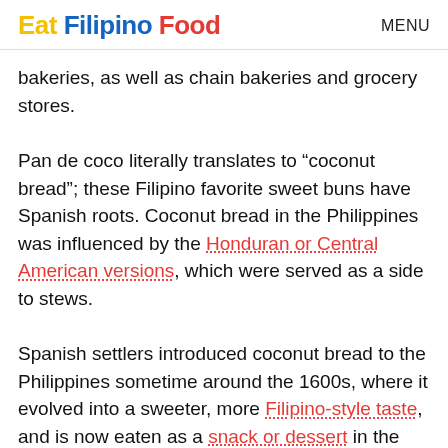Eat Filipino Food   MENU
bakeries, as well as chain bakeries and grocery stores.
Pan de coco literally translates to “coconut bread”; these Filipino favorite sweet buns have Spanish roots. Coconut bread in the Philippines was influenced by the Honduran or Central American versions, which were served as a side to stews.
Spanish settlers introduced coconut bread to the Philippines sometime around the 1600s, where it evolved into a sweeter, more Filipino-style taste, and is now eaten as a snack or dessert in the Philippines.